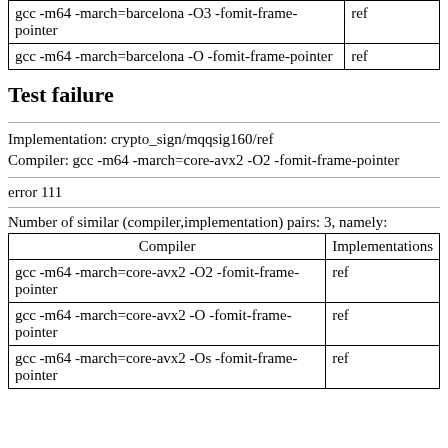| Compiler | Implementations |
| --- | --- |
| gcc -m64 -march=barcelona -O3 -fomit-frame-pointer | ref |
| gcc -m64 -march=barcelona -O -fomit-frame-pointer | ref |
Test failure
Implementation: crypto_sign/mqqsig160/ref
Compiler: gcc -m64 -march=core-avx2 -O2 -fomit-frame-pointer
error 111
Number of similar (compiler,implementation) pairs: 3, namely:
| Compiler | Implementations |
| --- | --- |
| gcc -m64 -march=core-avx2 -O2 -fomit-frame-pointer | ref |
| gcc -m64 -march=core-avx2 -O -fomit-frame-pointer | ref |
| gcc -m64 -march=core-avx2 -Os -fomit-frame-pointer | ref |